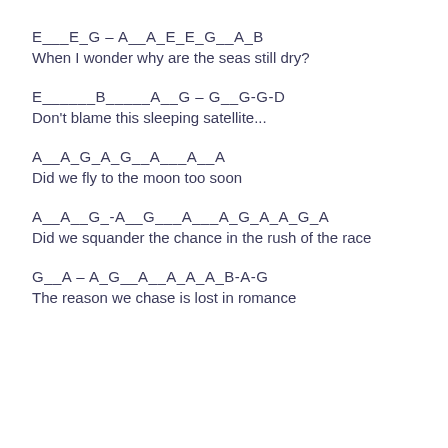E___E_G – A__A_E_E_G__A_B
When I wonder why are the seas still dry?
E______B_____A__G – G__G-G-D
Don't blame this sleeping satellite...
A__A_G_A_G__A___A__A
Did we fly to the moon too soon
A__A__G_-A__G___A___A_G_A_A_G_A
Did we squander the chance in the rush of the race
G__A – A_G__A__A_A_A_B-A-G
The reason we chase is lost in romance